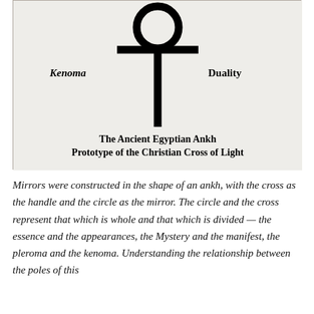[Figure (illustration): The Ancient Egyptian Ankh symbol — a circle atop a T-shaped cross — drawn in black on a light grey textured background. The word 'Kenoma' in bold italic appears to the left of the vertical stem, and 'Duality' in bold appears to the right.]
The Ancient Egyptian Ankh
Prototype of the Christian Cross of Light
Mirrors were constructed in the shape of an ankh, with the cross as the handle and the circle as the mirror. The circle and the cross represent that which is whole and that which is divided — the essence and the appearances, the Mystery and the manifest, the pleroma and the kenoma. Understanding the relationship between the poles of this